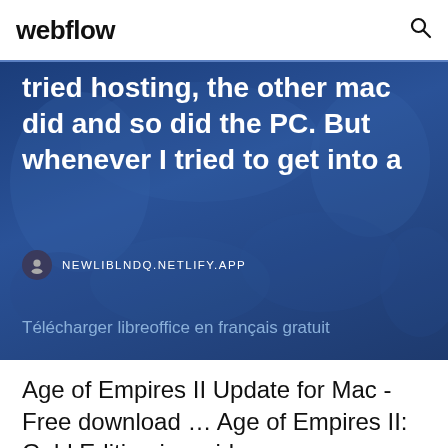webflow
tried hosting, the other mac did and so did the PC. But whenever I tried to get into a
NEWLIBLNDQ.NETLIFY.APP
Télécharger libreoffice en français gratuit
Age of Empires II Update for Mac - Free download ... Age of Empires II: Gold Edition is a video game published in